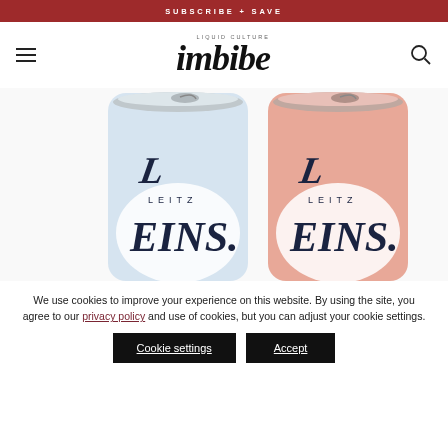SUBSCRIBE + SAVE
[Figure (logo): Imbibe magazine logo with 'LIQUID CULTURE' tagline above, bold italic serif logotype reading 'imbibe']
[Figure (photo): Two Leitz Eins. sparkling wine cans side by side — left can is pale blue/white, right can is pink/rose — both showing the Leitz brand name and Eins. label with stylized script lettering]
We use cookies to improve your experience on this website. By using the site, you agree to our privacy policy and use of cookies, but you can adjust your cookie settings.
Cookie settings
Accept